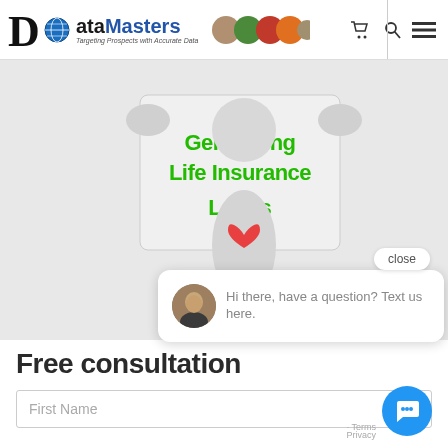[Figure (logo): DataMasters logo with globe icon, tagline 'Targeting Prospects with Accurate Data', circular photo thumbnails of people, car, and couple]
[Figure (illustration): 3D white figure holding a sign that says 'Generating Life Insurance Leads' in green bold text, with a red heart/tie on its chest]
close
Hi there, have a question? Text us here.
Free consultation
First Name